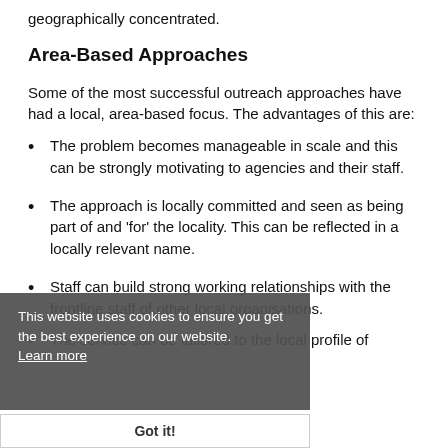geographically concentrated.
Area-Based Approaches
Some of the most successful outreach approaches have had a local, area-based focus. The advantages of this are:
The problem becomes manageable in scale and this can be strongly motivating to agencies and their staff.
The approach is locally committed and seen as being part of and 'for' the locality. This can be reflected in a locally relevant name.
Staff can build strong working relationships with the frontline staff of other local organisations.
The service can be tailored to the local profile of